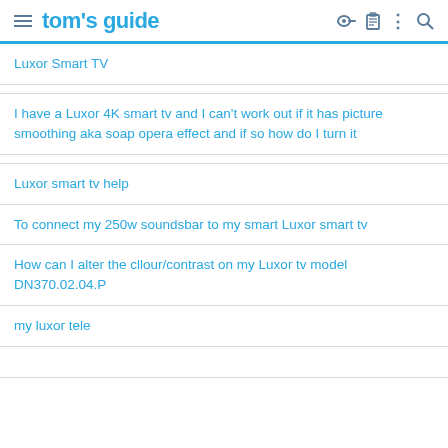tom's guide
Luxor Smart TV
I have a Luxor 4K smart tv and I can't work out if it has picture smoothing aka soap opera effect and if so how do I turn it
Luxor smart tv help
To connect my 250w soundsbar to my smart Luxor smart tv
How can I alter the cllour/contrast on my Luxor tv model DN370.02.04.P
my luxor tele